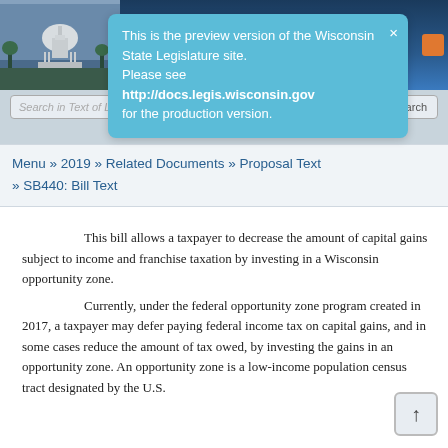[Figure (screenshot): Wisconsin State Legislature website header with capitol building image and navigation bar showing 'HOME' tab]
This is the preview version of the Wisconsin State Legislature site. Please see http://docs.legis.wisconsin.gov for the production version.
Menu » 2019 » Related Documents » Proposal Text » SB440: Bill Text
This bill allows a taxpayer to decrease the amount of capital gains subject to income and franchise taxation by investing in a Wisconsin opportunity zone.
Currently, under the federal opportunity zone program created in 2017, a taxpayer may defer paying federal income tax on capital gains, and in some cases reduce the amount of tax owed, by investing the gains in an opportunity zone. An opportunity zone is a low-income population census tract designated by the U.S.